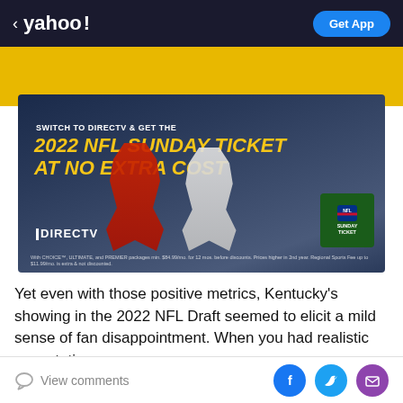< yahoo! | Get App
[Figure (photo): DIRECTV advertisement banner: 'SWITCH TO DIRECTV & GET THE 2022 NFL SUNDAY TICKET AT NO EXTRA COST' with two NFL players (one in red Chiefs jersey, one in white Cowboys jersey) and NFL Sunday Ticket badge logo. Fine print below.]
Yet even with those positive metrics, Kentucky's showing in the 2022 NFL Draft seemed to elicit a mild sense of fan disappointment. When you had realistic expectations
View comments | Facebook | Twitter | Email